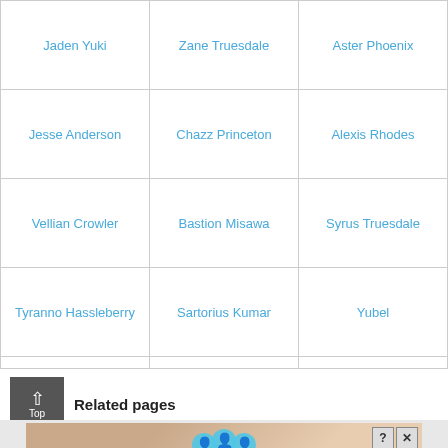| Jaden Yuki | Zane Truesdale | Aster Phoenix |
| Jesse Anderson | Chazz Princeton | Alexis Rhodes |
| Vellian Crowler | Bastion Misawa | Syrus Truesdale |
| Tyranno Hassleberry | Sartorius Kumar | Yubel |
| Jaden/Yubel | Blair Flannigan | Axel Brodie |
| The Supreme King | - | - |
Related pages
[Figure (other): Advertisement banner showing 'Hold and Move' with close and help buttons]